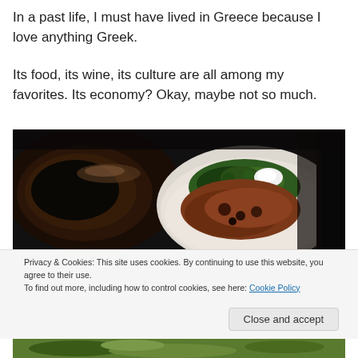In a past life, I must have lived in Greece because I love anything Greek.
Its food, its wine, its culture are all among my favorites. Its economy? Okay, maybe not so much.
[Figure (photo): A white bowl containing a dish with greens/herbs and meat with dark sauce on a dark table background]
Privacy & Cookies: This site uses cookies. By continuing to use this website, you agree to their use.
To find out more, including how to control cookies, see here: Cookie Policy
Close and accept
[Figure (photo): Partial view of food at the bottom of the page]